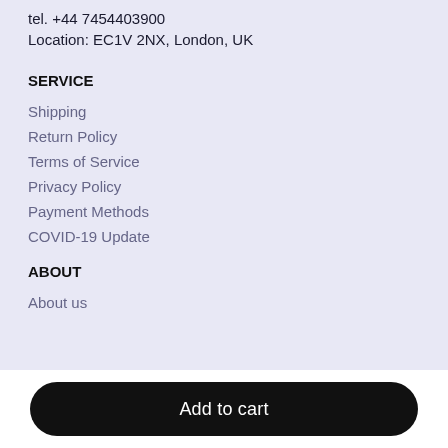tel. +44 7454403900
Location: EC1V 2NX, London, UK
SERVICE
Shipping
Return Policy
Terms of Service
Privacy Policy
Payment Methods
COVID-19 Update
ABOUT
About us
Add to cart